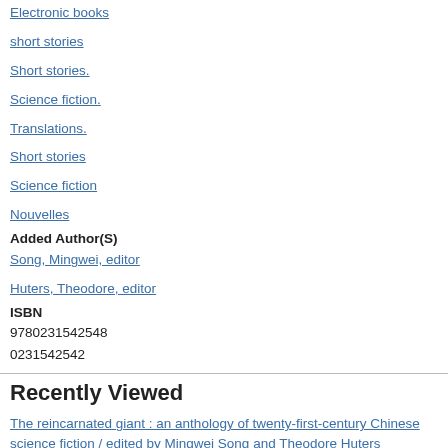Electronic books
short stories
Short stories.
Science fiction.
Translations.
Short stories
Science fiction
Nouvelles
Added Author(S)
Song, Mingwei, editor
Huters, Theodore, editor
ISBN
9780231542548
0231542542
Recently Viewed
The reincarnated giant : an anthology of twenty-first-century Chinese science fiction / edited by Mingwei Song and Theodore Huters